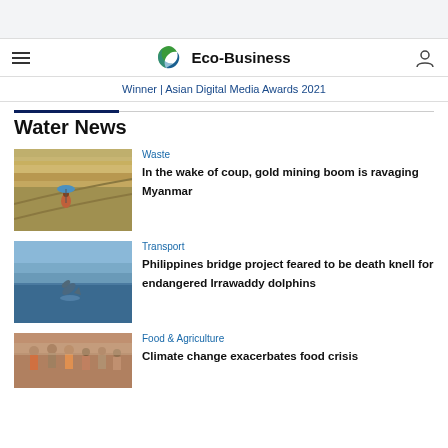[Figure (logo): Eco-Business logo with green and blue swirl icon and bold text 'Eco-Business']
Winner | Asian Digital Media Awards 2021
Water News
Waste
[Figure (photo): Person with blue umbrella standing on arid terraced landscape, likely a mining area in Myanmar]
In the wake of coup, gold mining boom is ravaging Myanmar
Transport
[Figure (photo): Irrawaddy dolphin leaping out of water near a shoreline]
Philippines bridge project feared to be death knell for endangered Irrawaddy dolphins
Food & Agriculture
[Figure (photo): Crowd of people outdoors, woman in foreground wearing colorful clothing]
Climate change exacerbates food crisis